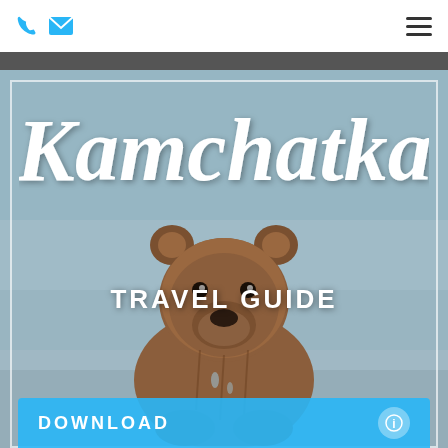Header with phone icon, email icon, and hamburger menu
[Figure (photo): Kamchatka Travel Guide promotional image showing a brown bear standing in water with misty background. Text overlays read 'Kamchatka' in cursive script and 'TRAVEL GUIDE' in bold white uppercase letters. A cyan/blue download bar appears at the bottom with 'DOWNLOAD' text.]